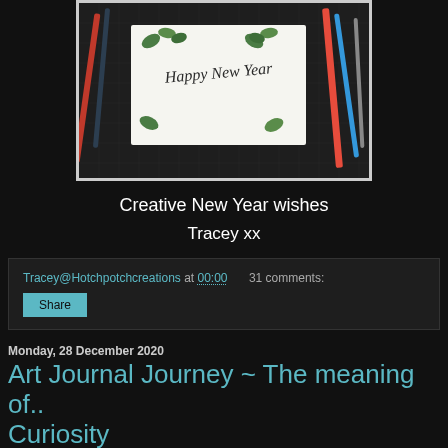[Figure (photo): Photo of a 'Happy New Year' hand-lettered card with green botanical illustrations on a dark grid cutting mat, surrounded by pens and markers]
Creative New Year wishes
Tracey xx
Tracey@Hotchpotchcreations at 00:00   31 comments:
Share
Monday, 28 December 2020
Art Journal Journey ~ The meaning of.. Curiosity
Hello Creative Friends
Did you take time out for you this Christmas??